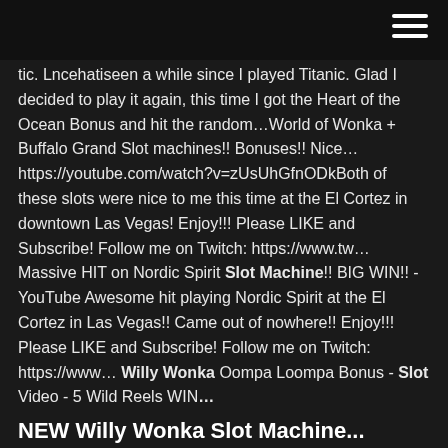tic. Lncehatiseen a while since I played Titanic. Glad I decided to play it again, this time I got the Heart of the Ocean Bonus and hit the random…World of Wonka + Buffalo Grand Slot machines!! Bonuses!! Nice… https://youtube.com/watch?v=zUsUhGfnODkBoth of these slots were nice to me this time at the El Cortez in downtown Las Vegas! Enjoy!!! Please LIKE and Subscribe! Follow me on Twitch: https://www.tw… Massive HIT on Nordic Spirit Slot Machine!! BIG WIN!! - YouTube Awesome hit playing Nordic Spirit at the El Cortez in Las Vegas!! Came out of nowhere!! Enjoy!!! Please LIKE and Subscribe! Follow me on Twitch: https://www… Willy Wonka Oompa Loompa Bonus - Slot Video - 5 Wild Reels WIN…
NEW Willy Wonka Slot Machine...